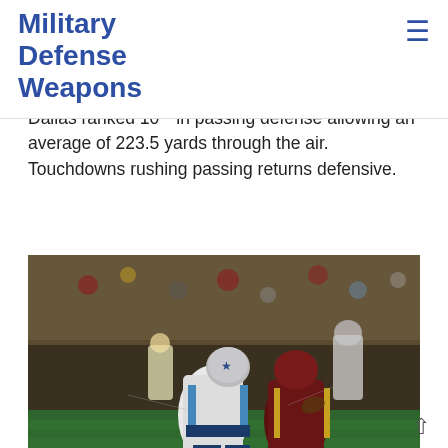Military Defense Weapons
Dallas ranked 10th in passing defense allowing an average of 223.5 yards through the air. Touchdowns rushing passing returns defensive.
[Figure (photo): NFL game action photo showing Dallas Cowboys player tackling a Washington player, taken at night game.]
Source: newarena.com
We also have seen playoff games go lower scoring as things tighten up. Total first downs total 1st downs